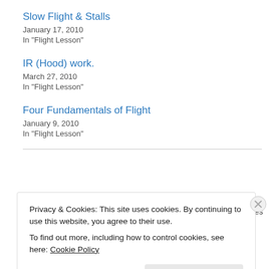Slow Flight & Stalls
January 17, 2010
In "Flight Lesson"
IR (Hood) work.
March 27, 2010
In "Flight Lesson"
Four Fundamentals of Flight
January 9, 2010
In "Flight Lesson"
March 21, 2010
2 Replies
Privacy & Cookies: This site uses cookies. By continuing to use this website, you agree to their use.
To find out more, including how to control cookies, see here: Cookie Policy
Close and accept